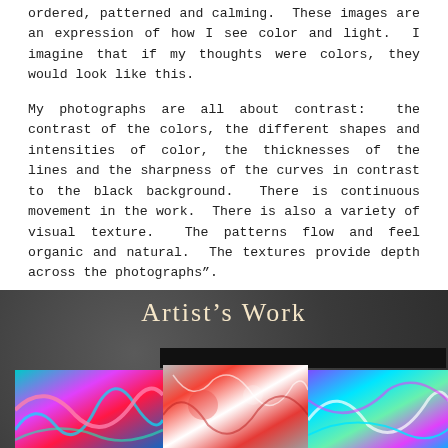ordered, patterned and calming.  These images are an expression of how I see color and light.  I imagine that if my thoughts were colors, they would look like this.
My photographs are all about contrast:  the contrast of the colors, the different shapes and intensities of color, the thicknesses of the lines and the sharpness of the curves in contrast to the black background.  There is continuous movement in the work.  There is also a variety of visual texture.  The patterns flow and feel organic and natural.  The textures provide depth across the photographs".
Artist's Work
[Figure (photo): Three colorful abstract photographs arranged in a row on a dark background. Left: swirling pink, blue, and teal abstract patterns. Center: chaotic white, red, and gray mixed abstract texture. Right: neon blue, purple, and green flowing abstract curves.]